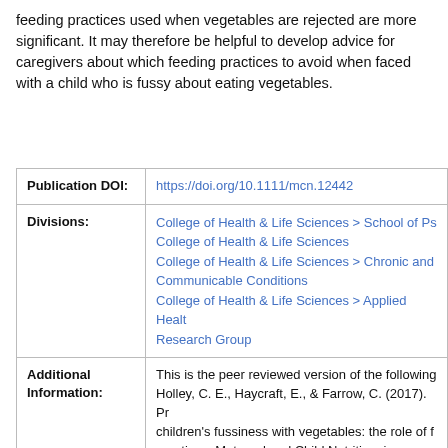feeding practices used when vegetables are rejected are more significant. It may therefore be helpful to develop advice for caregivers about which feeding practices to avoid when faced with a child who is fussy about eating vegetables.
| Field | Value |
| --- | --- |
| Publication DOI: | https://doi.org/10.1111/mcn.12442 |
| Divisions: | College of Health & Life Sciences > School of Ps...
College of Health & Life Sciences
College of Health & Life Sciences > Chronic and Communicable Conditions
College of Health & Life Sciences > Applied Health Research Group |
| Additional Information: | This is the peer reviewed version of the following... Holley, C. E., Haycraft, E., & Farrow, C. (2017). Pr... children's fussiness with vegetables: the role of f... practices. Maternal and Child Nutrition, in press., has been published in final form at http://dx.doi.org/10.1111/mcn.12442. This article... |